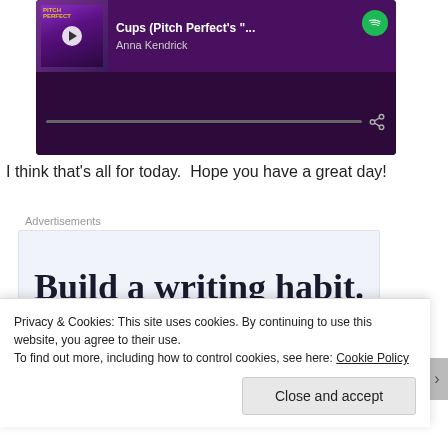[Figure (screenshot): Spotify embedded music player widget showing 'Cups (Pitch Perfect's "...' by Anna Kendrick with album art, play button, progress bar, and share icon on a dark purple background]
I think that's all for today.  Hope you have a great day!
Advertisements
[Figure (screenshot): Advertisement showing partial text 'Build a writing habit. Post on' in large serif font on a light blue-gray background]
Privacy & Cookies: This site uses cookies. By continuing to use this website, you agree to their use.
To find out more, including how to control cookies, see here: Cookie Policy
Close and accept